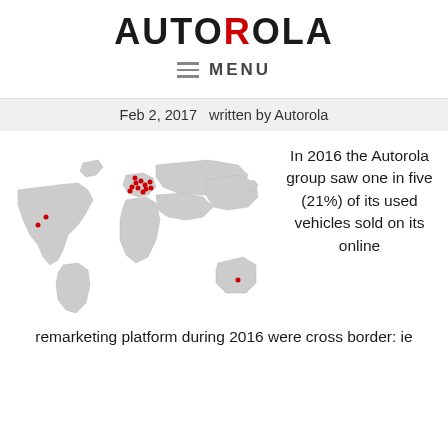[Figure (logo): Autorola logo with stylized red R and black text AUTOROLA]
≡  MENU
Feb 2, 2017   written by Autorola
[Figure (map): World map in light grey showing red dot markers concentrated in Europe with a few in Americas and Australia]
In 2016 the Autorola group saw one in five (21%) of its used vehicles sold on its online remarketing platform during 2016 were cross border: ie